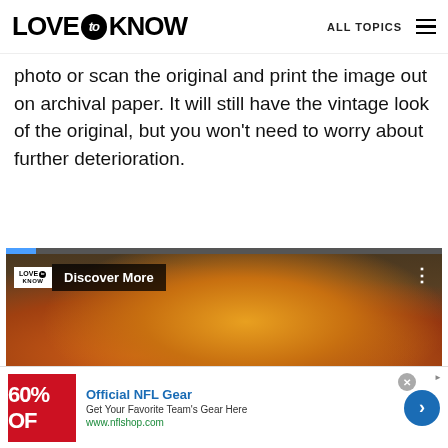LOVE to KNOW  ALL TOPICS
photo or scan the original and print the image out on archival paper. It will still have the vintage look of the original, but you won't need to worry about further deterioration.
[Figure (screenshot): Video player showing a mango juice drink image with LoveToKnow logo, 'Discover More' overlay text, playback controls (skip back, pause, skip forward, mute), a 'READ MORE' button, and a video progress bar at top.]
[Figure (screenshot): Advertisement banner for Official NFL Gear showing '60% OFF' red image, ad text 'Official NFL Gear - Get Your Favorite Team's Gear Here - www.nflshop.com', close X button, and blue arrow navigation button.]